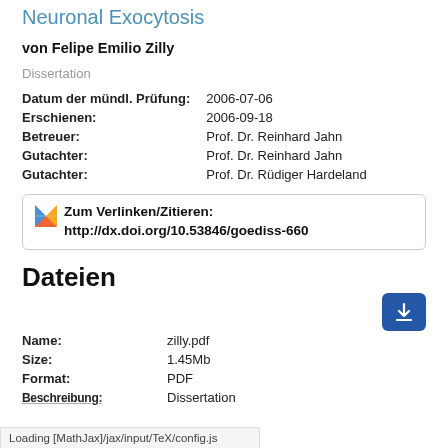Neuronal Exocytosis
von Felipe Emilio Zilly
Dissertation
| Datum der mündl. Prüfung: | 2006-07-06 |
| Erschienen: | 2006-09-18 |
| Betreuer: | Prof. Dr. Reinhard Jahn |
| Gutachter: | Prof. Dr. Reinhard Jahn |
| Gutachter: | Prof. Dr. Rüdiger Hardeland |
Zum Verlinken/Zitieren: http://dx.doi.org/10.53846/goediss-660
Dateien
| Name: | zilly.pdf |
| Size: | 1.45Mb |
| Format: | PDF |
| Beschreibung: | Dissertation |
Loading [MathJax]/jax/input/TeX/config.js